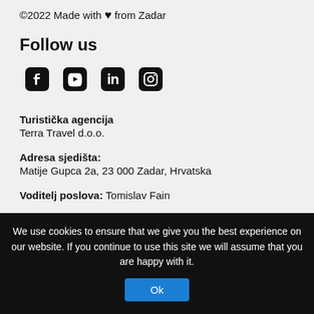©2022 Made with ♥ from Zadar
Follow us
[Figure (other): Social media icons: Facebook, YouTube, LinkedIn, Instagram]
Turistička agencija
Terra Travel d.o.o.
Adresa sjedišta:
Matije Gupca 2a, 23 000 Zadar, Hrvatska
Voditelj poslova: Tomislav Fain
We use cookies to ensure that we give you the best experience on our website. If you continue to use this site we will assume that you are happy with it.